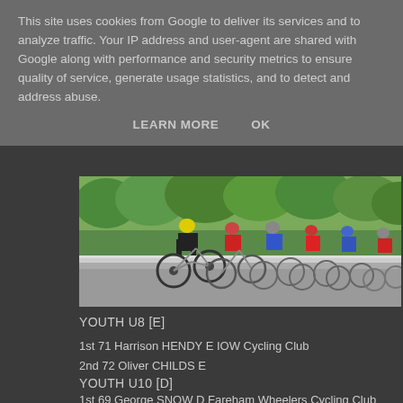This site uses cookies from Google to deliver its services and to analyze traffic. Your IP address and user-agent are shared with Google along with performance and security metrics to ensure quality of service, generate usage statistics, and to detect and address abuse.
LEARN MORE    OK
[Figure (photo): Cycling race photo showing a group of cyclists in a road race, with the lead cyclist wearing a yellow helmet and black jersey, followed by riders in red, blue and other colored jerseys, with green trees in the background.]
YOUTH U8 [E]
1st 71 Harrison HENDY E IOW Cycling Club
2nd 72 Oliver CHILDS E
YOUTH U10 [D]
1st 69 George SNOW D Fareham Wheelers Cycling Club